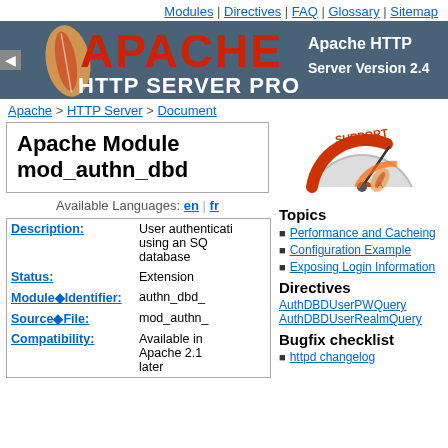Modules | Directives | FAQ | Glossary | Sitemap
[Figure (logo): Apache HTTP Server Project logo with feather and red APACHE text on dark teal background, Apache HTTP Server Version 2.4]
Apache > HTTP Server > Document
Apache Module mod_authn_dbd
Available Languages: en | fr
| Field | Value |
| --- | --- |
| Description: | User authentication using an SQL database |
| Status: | Extension |
| Module◆Identifier: | authn_dbd_ |
| Source◆File: | mod_authn_ |
| Compatibility: | Available in Apache 2.1 later |
[Figure (illustration): Support gauge/speedometer graphic in red and orange]
Topics
Performance and Cacheing
Configuration Example
Exposing Login Information
Directives
AuthDBDUserPWQuery
AuthDBDUserRealmQuery
Bugfix checklist
httpd changelog